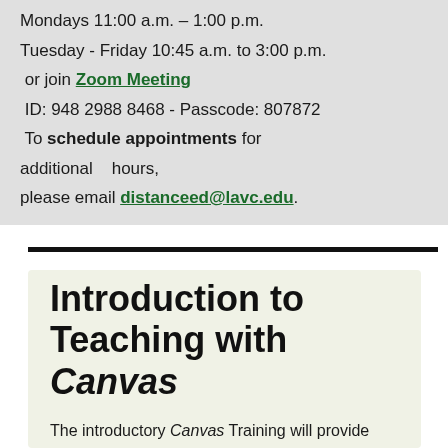Mondays 11:00 a.m. – 1:00 p.m. Tuesday - Friday 10:45 a.m. to 3:00 p.m. or join Zoom Meeting ID: 948 2988 8468 - Passcode: 807872 To schedule appointments for additional hours, please email distanceed@lavc.edu.
Introduction to Teaching with Canvas
The introductory Canvas Training will provide